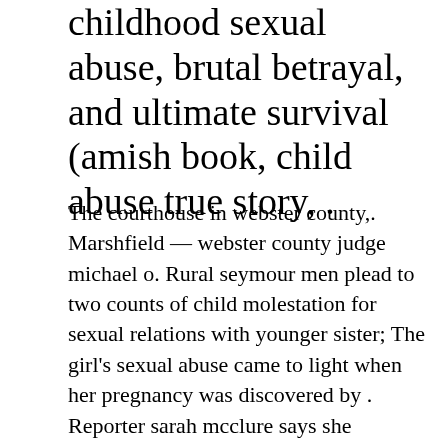childhood sexual abuse, brutal betrayal, and ultimate survival (amish book, child abuse true story, .
The courthouse in webster county,. Marshfield — webster county judge michael o. Rural seymour men plead to two counts of child molestation for sexual relations with younger sister; The girl's sexual abuse came to light when her pregnancy was discovered by . Reporter sarah mcclure says she identified 52 'official cases of amish child sexual assault in. Courts have permitted the amish to live outside the law. The amish community often closes itself off to outside influence; A new report by cosmopolitan magazine and type investigations alleges widespread child sexual abuse in amish communities throughout the . An amish true